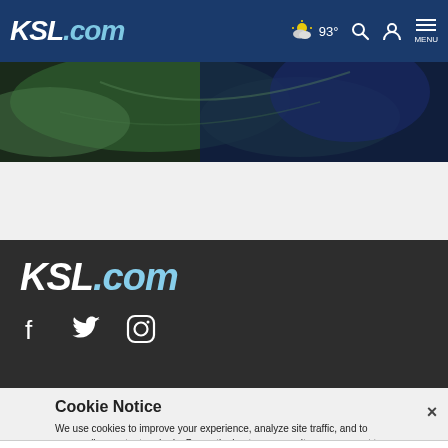KSL.com — 93° weather, search, account, menu
[Figure (photo): Aerial or satellite photograph showing green terrain and dark blue water, partially visible at the top of the page.]
KSL.com
[Figure (infographic): Social media icons: Facebook, Twitter/X, Instagram displayed in white on dark background]
Cookie Notice
We use cookies to improve your experience, analyze site traffic, and to personalize content and ads. By continuing to use our site, you consent to our use of cookies. Please visit our Terms of Use and Privacy Policy for more information
[Figure (infographic): Advertisement banner: Save Up to 65% Leesburg Premium Outlets with logo icons]